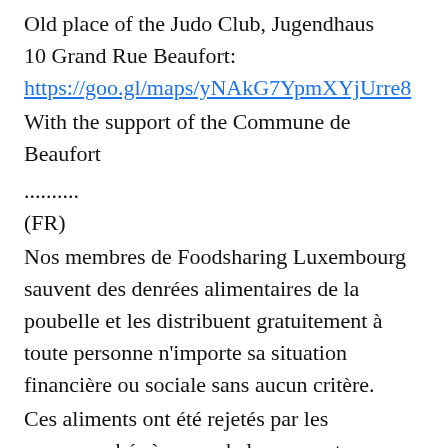Old place of the Judo Club, Jugendhaus
10 Grand Rue Beaufort:
https://goo.gl/maps/yNAkG7YpmXYjUrre8
With the support of the Commune de Beaufort
..........
(FR)
Nos membres de Foodsharing Luxembourg sauvent des denrées alimentaires de la poubelle et les distribuent gratuitement à toute personne n'importe sa situation financière ou sociale sans aucun critère.
Ces aliments ont été rejetés par les supermarchés à cause de leur aspect un peu trop courbé, trop petit, trop grand, endommagé, ou simplement parce qu'ils ont passé la date de péremption. Mais cela ne veut pas dire qu'ils ne sont plus consommables!